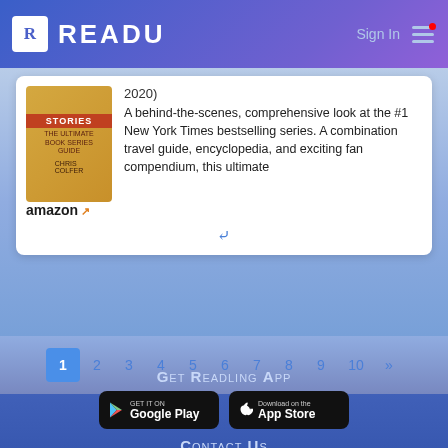READU — Sign In
2020)
A behind-the-scenes, comprehensive look at the #1 New York Times bestselling series. A combination travel guide, encyclopedia, and exciting fan compendium, this ultimate
[Figure (screenshot): Book cover for Stories with amazon logo below]
1 2 3 4 5 6 7 8 9 10 »
Get Readling App
[Figure (logo): Google Play store button]
[Figure (logo): Apple App Store button]
Contact Us
contact@readu.tech